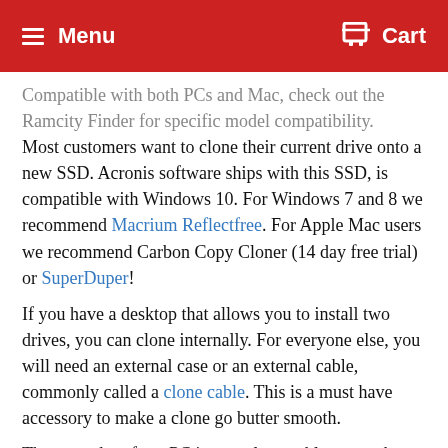Menu   Cart
Compatible with both PCs and Mac, check out the Ramcity Finder for specific model compatibility.
Most customers want to clone their current drive onto a new SSD. Acronis software ships with this SSD, is compatible with Windows 10. For Windows 7 and 8 we recommend Macrium Reflectfree. For Apple Mac users we recommend Carbon Copy Cloner (14 day free trial) or SuperDuper!
If you have a desktop that allows you to install two drives, you can clone internally. For everyone else, you will need an external case or an external cable, commonly called a clone cable. This is a must have accessory to make a clone go butter smooth.
The procedure for a PC is: use clone cable to attach new SSD to PC via USB port. Install Acronis, clone from old drive to new drive. When finished install the SSD and reboot.
The procedure for a Mac is: use clone cable to attach new SSD to PC via USB port. Install CCC or SuperDuper! and clone from old drive to new drive. When finished install the SSD and